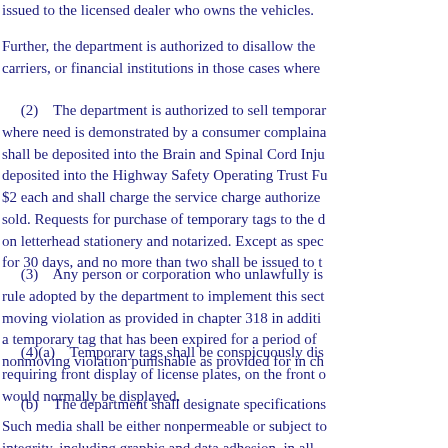issued to the licensed dealer who owns the vehicles.
Further, the department is authorized to disallow the carriers, or financial institutions in those cases where
(2)   The department is authorized to sell temporary where need is demonstrated by a consumer complaint shall be deposited into the Brain and Spinal Cord Inju deposited into the Highway Safety Operating Trust Fu $2 each and shall charge the service charge authorize sold. Requests for purchase of temporary tags to the on letterhead stationery and notarized. Except as spe for 30 days, and no more than two shall be issued to t
(3)   Any person or corporation who unlawfully is rule adopted by the department to implement this sec moving violation as provided in chapter 318 in additi a temporary tag that has been expired for a period of nonmoving violation punishable as provided for in ch
(4)(a)   Temporary tags shall be conspicuously dis requiring front display of license plates, on the front would normally be displayed.
(b)   The department shall designate specifications Such media shall be either nonpermeable or subject to integrity, including graphic and data adhesion, in all